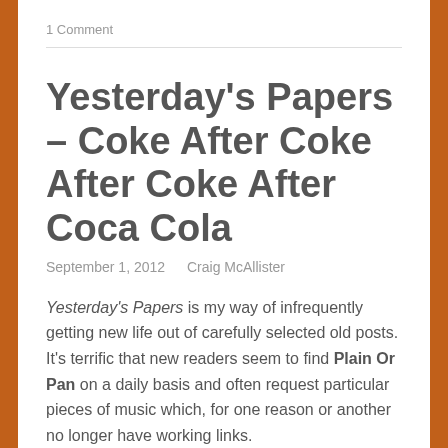1 Comment
Yesterday's Papers – Coke After Coke After Coke After Coca Cola
September 1, 2012   Craig McAllister
Yesterday's Papers is my way of infrequently getting new life out of carefully selected old posts. It's terrific that new readers seem to find Plain Or Pan on a daily basis and often request particular pieces of music which, for one reason or another no longer have working links.